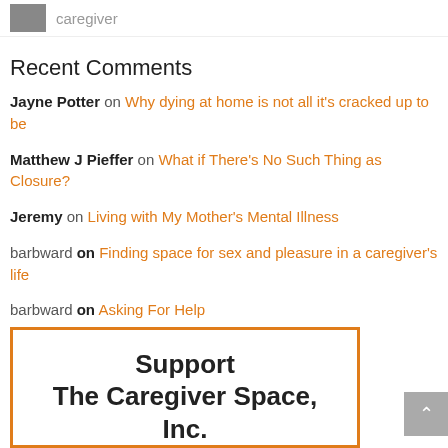caregiver
Recent Comments
Jayne Potter on Why dying at home is not all it's cracked up to be
Matthew J Pieffer on What if There's No Such Thing as Closure?
Jeremy on Living with My Mother's Mental Illness
barbward on Finding space for sex and pleasure in a caregiver's life
barbward on Asking For Help
Support The Caregiver Space, Inc.